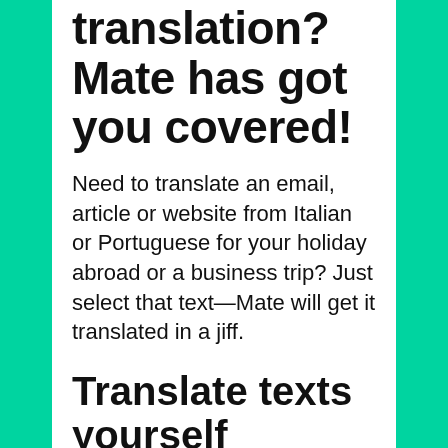translation? Mate has got you covered!
Need to translate an email, article or website from Italian or Portuguese for your holiday abroad or a business trip? Just select that text—Mate will get it translated in a jiff.
Translate texts yourself
Stop poking at friends and agencies whenever you need a